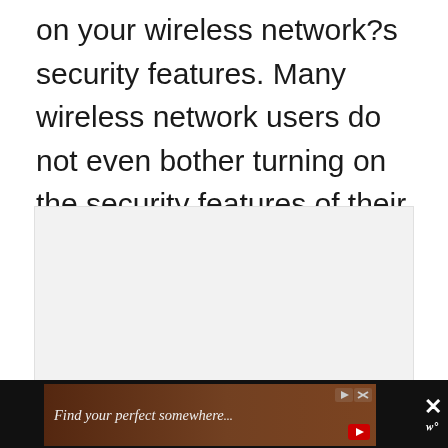on your wireless network?s security features. Many wireless network users do not even bother turning on the security features of their wireless system.
[Figure (other): A light gray placeholder box representing an embedded image or content block]
[Figure (screenshot): A dark footer bar containing an advertisement banner with red background showing 'Find your perfect somewhere' text, play and close icons, and a close X button with W logo on the right]